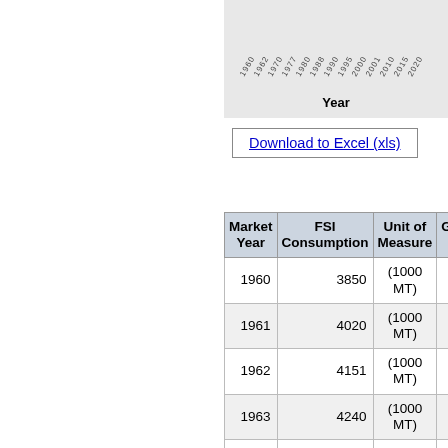[Figure (continuous-plot): Partial chart fragment showing rotated year labels (1960–2020) along x-axis and 'Year' axis label. Chart background is gray, content is cropped.]
Download to Excel (xls)
| Market Year | FSI Consumption | Unit of Measure | Gr... R... |
| --- | --- | --- | --- |
| 1960 | 3850 | (1000 MT) |  |
| 1961 | 4020 | (1000 MT) | 4 |
| 1962 | 4151 | (1000 MT) | 3 |
| 1963 | 4240 | (1000 MT) | 2 |
| 1964 | 4345 | (1000 MT) | 2 |
| 1965 | 4547 | (1000 MT) | 4 |
| 1966 | 4775 | (1000 MT) | 5 |
| 1967 | 4825 | (1000 MT) | 1 |
| 1968 |  | (1000 |  |